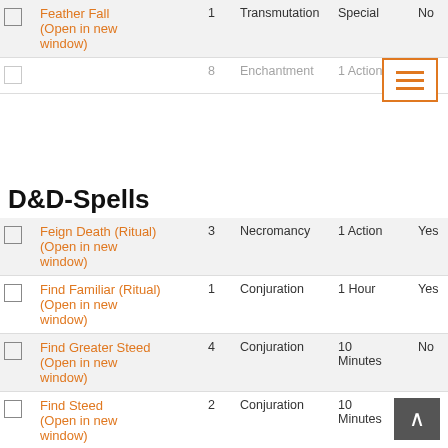|  | Spell Name | Level | School | Casting Time | Conc. | Ritual |
| --- | --- | --- | --- | --- | --- | --- |
| ☐ | Feather Fall (Open in new window) | 1 | Transmutation | Special | No | N |
| ☐ | [partial row faded] | 8 | Enchantment | 1 Action |  |  |
| ☐ | Feign Death (Ritual) (Open in new window) | 3 | Necromancy | 1 Action | Yes | N |
| ☐ | Find Familiar (Ritual) (Open in new window) | 1 | Conjuration | 1 Hour | Yes | N |
| ☐ | Find Greater Steed (Open in new window) | 4 | Conjuration | 10 Minutes | No | N |
| ☐ | Find Steed (Open in new window) | 2 | Conjuration | 10 Minutes | No | N |
| ☐ | Find the Path (Open in new... | 6 | Divination | 1 Minute | No | Ye |
D&D-Spells
[Figure (other): Hamburger menu button icon with three horizontal lines, orange border]